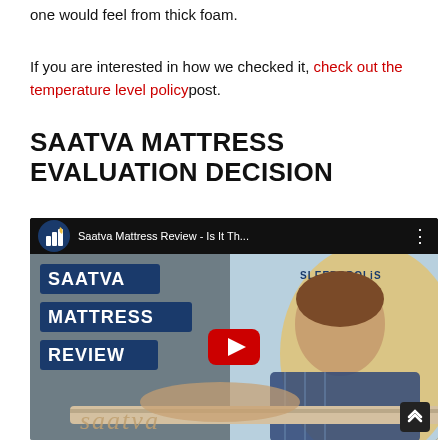one would feel from thick foam.
If you are interested in how we checked it, check out the temperature level policy post.
SAATVA MATTRESS EVALUATION DECISION
[Figure (screenshot): YouTube video thumbnail for 'Saatva Mattress Review - Is It Th...' from Sleepopolis channel, showing a man leaning on a mattress with SAATVA / MATTRESS / REVIEW text overlays in dark blue, and a YouTube play button in the center.]